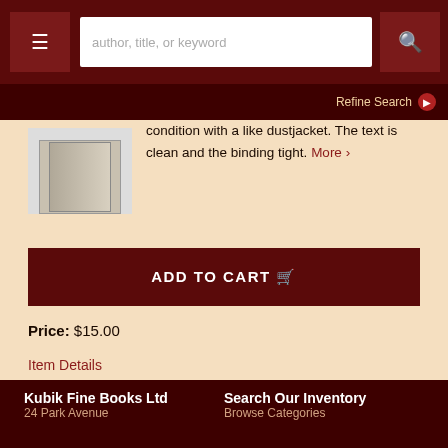author, title, or keyword [search bar] [menu] [search button]
Refine Search ▶
[Figure (photo): Book cover image thumbnail]
condition with a like dustjacket. The text is clean and the binding tight. More ›
ADD TO CART 🛒
Price: $15.00
Item Details
Ask a Question
Page 1 of 5
Kubik Fine Books Ltd
24 Park Avenue
Search Our Inventory
Browse Categories